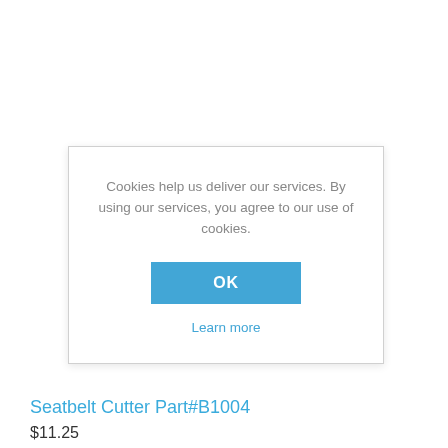[Figure (illustration): Yellow-green swoosh/logo shape partially visible behind cookie consent modal]
Cookies help us deliver our services. By using our services, you agree to our use of cookies.
OK
Learn more
Seatbelt Cutter Part#B1004
$11.25